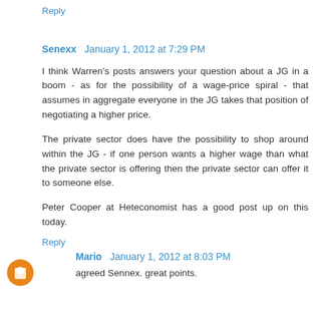Reply
Senexx  January 1, 2012 at 7:29 PM
I think Warren's posts answers your question about a JG in a boom - as for the possibility of a wage-price spiral - that assumes in aggregate everyone in the JG takes that position of negotiating a higher price.
The private sector does have the possibility to shop around within the JG - if one person wants a higher wage than what the private sector is offering then the private sector can offer it to someone else.
Peter Cooper at Heteconomist has a good post up on this today.
Reply
Mario  January 1, 2012 at 8:03 PM
agreed Sennex. great points.